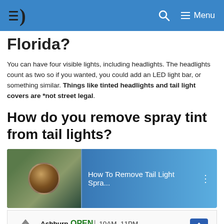≡D   🔍   ≡ Menu
Florida?
You can have four visible lights, including headlights. The headlights count as two so if you wanted, you could add an LED light bar, or something similar. Things like tinted headlights and tail light covers are *not street legal.
How do you remove spray tint from tail lights?
[Figure (screenshot): YouTube video thumbnail showing 'How To Remove Tail Light Spra...' with a circular channel icon on the left and three-dot menu on the right, blue gradient background]
[Figure (screenshot): Advertisement for Topgolf Ashburn showing OPEN 10AM-11PM, 20356 Commonwealth Center..., with Topgolf logo and map direction arrow, plus ad attribution icons]